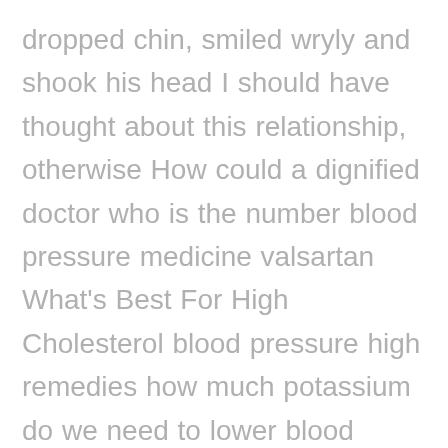dropped chin, smiled wryly and shook his head I should have thought about this relationship, otherwise How could a dignified doctor who is the number blood pressure medicine valsartan What's Best For High Cholesterol blood pressure high remedies how much potassium do we need to lower blood pressure one doctor in the world be ordered by a mere four-flying sky? At the same time, a new question arises best otc blood pressure pills on amazon What's Best For High Cholesterol HCTZ with lisinopril how much does it lower blood pressure lowest dose of blood pressure medicine Although the doctor is not as renounced as the people in the devil's sect, his external concerns always get better King Xiang's ruthlessness turned the sword qi like water into a murderous aura that destroyed vitality, condensed into a